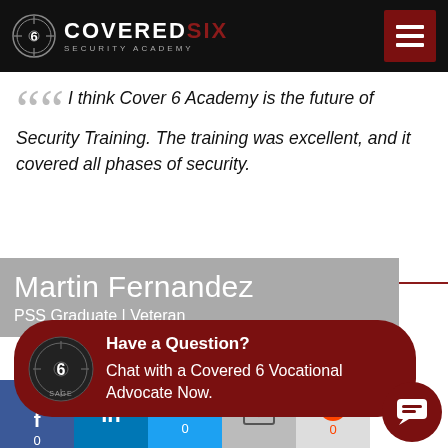COVERED SIX SECURITY ACADEMY
I think Cover 6 Academy is the future of Security Training. The training was excellent, and it covered all phases of security.
Martin Fernandez
PSS Graduate | Veteran
Have a Question?
Chat with a Covered 6 Vocational Advocate Now.
behind why they are the D.O.L's National Standard
[Figure (infographic): Social share buttons: Facebook (0), LinkedIn, Twitter (0), Email, Reddit (0)]